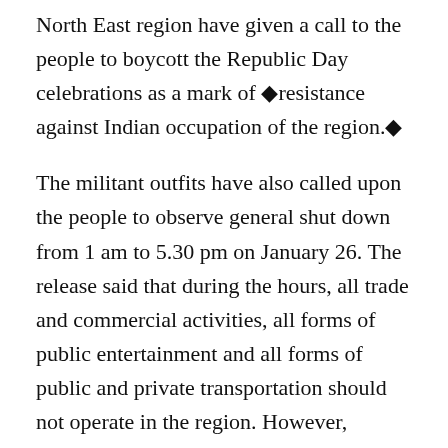North East region have given a call to the people to boycott the Republic Day celebrations as a mark of ◆resistance against Indian occupation of the region.◆
The militant outfits have also called upon the people to observe general shut down from 1 am to 5.30 pm on January 26. The release said that during the hours, all trade and commercial activities, all forms of public entertainment and all forms of public and private transportation should not operate in the region. However, emergency services, essential services, media and religious activities have been exempted from the strike.